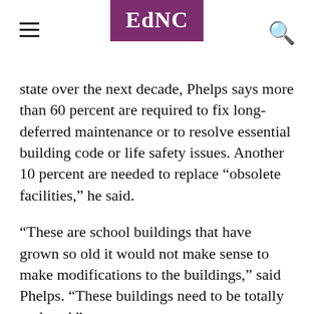EdNC
state over the next decade, Phelps says more than 60 percent are required to fix long-deferred maintenance or to resolve essential building code or life safety issues. Another 10 percent are needed to replace “obsolete facilities,” he said.
“These are school buildings that have grown so old it would not make sense to make modifications to the buildings,” said Phelps. “These buildings need to be totally replaced.”
Keith Poston, president of the Raleigh-based research and policy group, the Public School